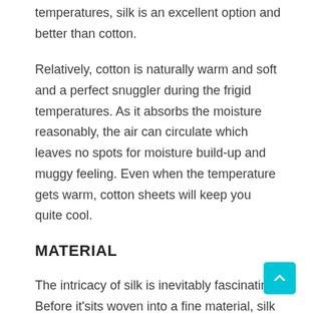temperatures, silk is an excellent option and better than cotton.
Relatively, cotton is naturally warm and soft and a perfect snuggler during the frigid temperatures. As it absorbs the moisture reasonably, the air can circulate which leaves no spots for moisture build-up and muggy feeling. Even when the temperature gets warm, cotton sheets will keep you quite cool.
MATERIAL
The intricacy of silk is inevitably fascinating. Before it'sits woven into a fine material, silk is extracted from the larvae of certain insects.